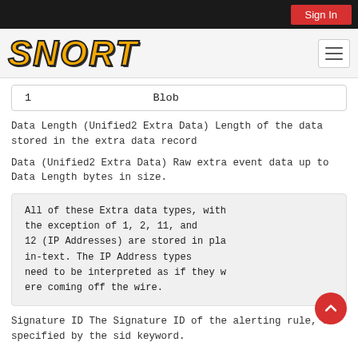Sign In
[Figure (logo): SNORT logo in bold yellow italic text with dark outline, navigation bar with hamburger menu]
| 1 | Blob |
Data Length (Unified2 Extra Data) Length of the data stored in the extra data record
Data (Unified2 Extra Data) Raw extra event data up to Data Length bytes in size.
All of these Extra data types, with the exception of 1, 2, 11, and 12 (IP Addresses) are stored in plain-text. The IP Address types need to be interpreted as if they were coming off the wire.
Signature ID The Signature ID of the alerting rule, as specified by the sid keyword.